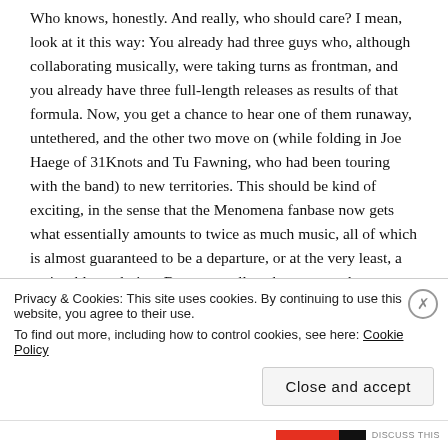Who knows, honestly.  And really, who should care?  I mean, look at it this way:  You already had three guys who, although collaborating musically, were taking turns as frontman, and you already have three full-length releases as results of that formula.  Now, you get a chance to hear one of them runaway, untethered, and the other two move on (while folding in Joe Haege of 31Knots and Tu Fawning, who had been touring with the band) to new territories.  This should be kind of exciting, in the sense that the Menomena fanbase now gets what essentially amounts to twice as much music, all of which is almost guaranteed to be a departure, or at the very least, a noticeable evolution.  Because really, who wants to hear a band make the same old record again and again?
Speaking of which, Mines is damn good record.  Did I mention that yet?  Menomena have a knack for taking what should otherwise be…
Privacy & Cookies: This site uses cookies. By continuing to use this website, you agree to their use.
To find out more, including how to control cookies, see here: Cookie Policy
Close and accept